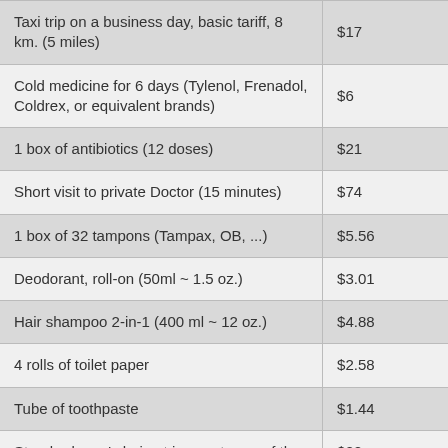| Item | Price |
| --- | --- |
| Taxi trip on a business day, basic tariff, 8 km. (5 miles) | $17 |
| Cold medicine for 6 days (Tylenol, Frenadol, Coldrex, or equivalent brands) | $6 |
| 1 box of antibiotics (12 doses) | $21 |
| Short visit to private Doctor (15 minutes) | $74 |
| 1 box of 32 tampons (Tampax, OB, ...) | $5.56 |
| Deodorant, roll-on (50ml ~ 1.5 oz.) | $3.01 |
| Hair shampoo 2-in-1 (400 ml ~ 12 oz.) | $4.88 |
| 4 rolls of toilet paper | $2.58 |
| Tube of toothpaste | $1.44 |
| Standard men's haircut in expat area of the | $22 |